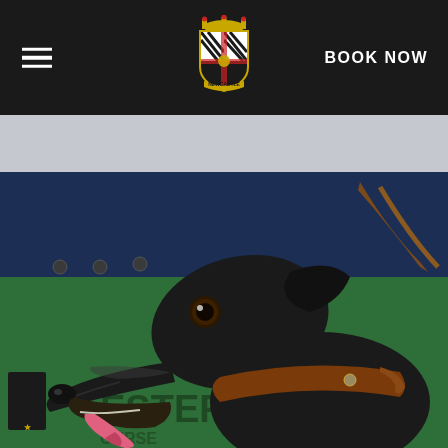Navigation bar with hamburger menu, logo, and BOOK NOW button
[Figure (photo): Close-up photograph of a black greyhound dog with a brown leather collar and lead, mouth open with tongue visible, in front of a green banner reading 'ESTER OURSE' (Leicester Greyhound Course), with a blue background and a small logo visible in the bottom left corner.]